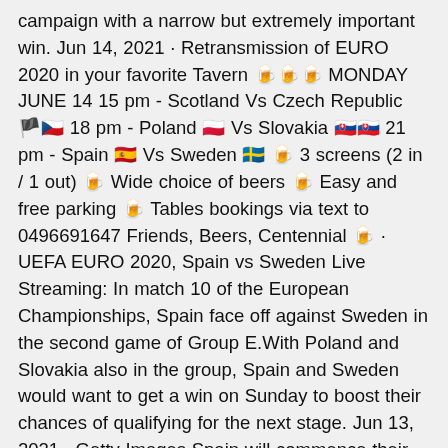campaign with a narrow but extremely important win. Jun 14, 2021 · Retransmission of EURO 2020 in your favorite Tavern 🍺🍺🍺 MONDAY JUNE 14 15 pm - Scotland Vs Czech Republic 🏴󠁧󠁢󠁳󠁣󠁴󠁿🇨🇿 18 pm - Poland 🇵🇱 Vs Slovakia 🇸🇰🇸🇰 21 pm - Spain 🇪🇸 Vs Sweden 🇸🇪 🍺 3 screens (2 in / 1 out) 🍺 Wide choice of beers 🍺 Easy and free parking 🍺 Tables bookings via text to 0496691647 Friends, Beers, Centennial 🍺 · UEFA EURO 2020, Spain vs Sweden Live Streaming: In match 10 of the European Championships, Spain face off against Sweden in the second game of Group E.With Poland and Slovakia also in the group, Spain and Sweden would want to get a win on Sunday to boost their chances of qualifying for the next stage. Jun 13, 2021 · Getty Images Spain will commence their Euro 2020 campaign when they face Sweden on Monday in Group E play. The Spain vs Sweden: Euro 2020 live stream